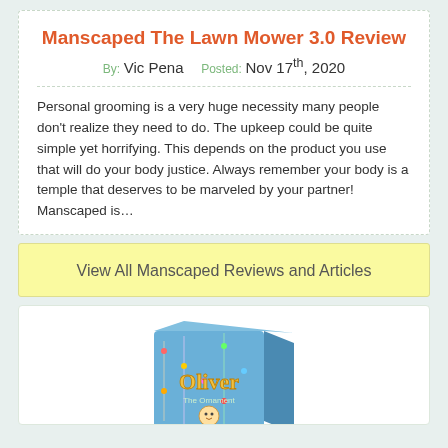Manscaped The Lawn Mower 3.0 Review
By: Vic Pena   Posted: Nov 17th, 2020
Personal grooming is a very huge necessity many people don't realize they need to do. The upkeep could be quite simple yet horrifying. This depends on the product you use that will do your body justice. Always remember your body is a temple that deserves to be marveled by your partner! Manscaped is…
View All Manscaped Reviews and Articles
[Figure (photo): A blue box product image for 'Oliver The Ornament' children's book or media product, showing an illustrated character.]